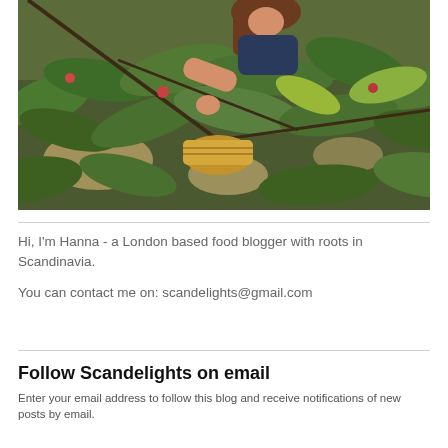[Figure (photo): A woman reaching through green fruit tree leaves, picking fruit into a wicker basket. Outdoor garden scene with dappled sunlight.]
Hi, I'm Hanna - a London based food blogger with roots in Scandinavia.
You can contact me on: scandelights@gmail.com
Follow Scandelights on email
Enter your email address to follow this blog and receive notifications of new posts by email.